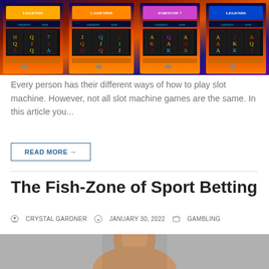[Figure (photo): Colorful casino slot machines with bright orange, blue, and purple lighting, showing multiple slot machine screens]
Every person has their different ways of how to play slot machine. However, not all slot machine games are the same. In this article you...
READ MORE →
The Fish-Zone of Sport Betting
CRYSTAL GARDNER   JANUARY 30, 2022   GAMBLING
[Figure (photo): Portrait photo of a smiling man against a gray background, cropped at top of page]